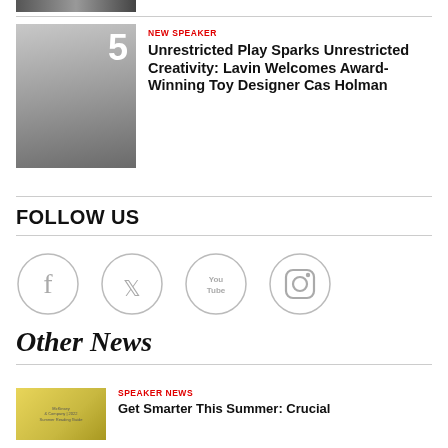[Figure (photo): Partial cropped photo at top of page, partially visible]
NEW SPEAKER
Unrestricted Play Sparks Unrestricted Creativity: Lavin Welcomes Award-Winning Toy Designer Cas Holman
FOLLOW US
[Figure (infographic): Four social media icons in circles: Facebook, Twitter, YouTube, Instagram]
Other News
SPEAKER NEWS
Get Smarter This Summer: Crucial